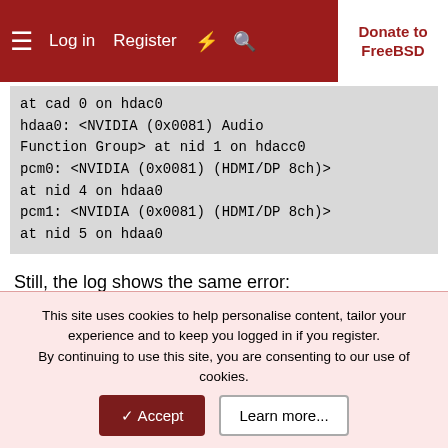Log in  Register  Donate to FreeBSD
at cad 0 on hdac0
hdaa0: <NVIDIA (0x0081) Audio Function Group> at nid 1 on hdacc0
pcm0: <NVIDIA (0x0081) (HDMI/DP 8ch)> at nid 4 on hdaa0
pcm1: <NVIDIA (0x0081) (HDMI/DP 8ch)> at nid 5 on hdaa0
Still, the log shows the same error:
# cat /var/log/Xorg.0.log
[ 253.351]
X.Org X Server 1.20.9
X Protocol Version 11, Revision 0
This site uses cookies to help personalise content, tailor your experience and to keep you logged in if you register.
By continuing to use this site, you are consenting to our use of cookies.